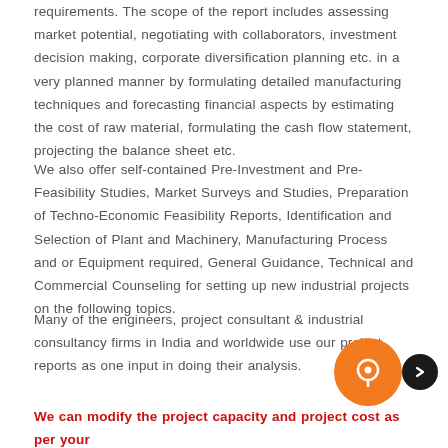requirements. The scope of the report includes assessing market potential, negotiating with collaborators, investment decision making, corporate diversification planning etc. in a very planned manner by formulating detailed manufacturing techniques and forecasting financial aspects by estimating the cost of raw material, formulating the cash flow statement, projecting the balance sheet etc.
We also offer self-contained Pre-Investment and Pre-Feasibility Studies, Market Surveys and Studies, Preparation of Techno-Economic Feasibility Reports, Identification and Selection of Plant and Machinery, Manufacturing Process and or Equipment required, General Guidance, Technical and Commercial Counseling for setting up new industrial projects on the following topics.
Many of the engineers, project consultant & industrial consultancy firms in India and worldwide use our project reports as one input in doing their analysis.
We can modify the project capacity and project cost as per your